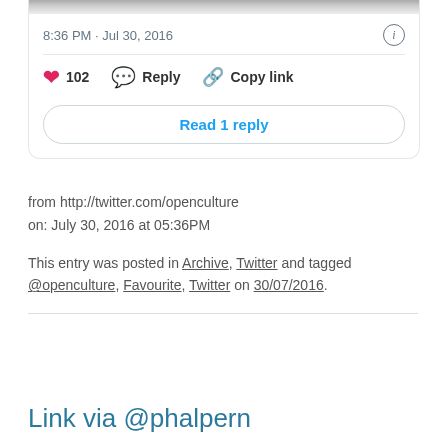[Figure (screenshot): Top of a tweet card showing a grayscale photo strip at the top edge]
8:36 PM · Jul 30, 2016
❤ 102   Reply   Copy link
Read 1 reply
from http://twitter.com/openculture
on: July 30, 2016 at 05:36PM
This entry was posted in Archive, Twitter and tagged @openculture, Favourite, Twitter on 30/07/2016.
Link via @phalpern